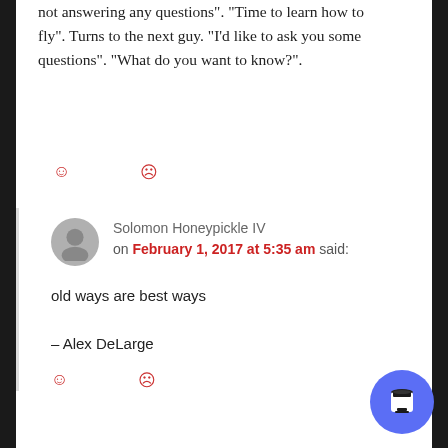not answering any questions”. “Time to learn how to fly”. Turns to the next guy. “I’d like to ask you some questions”. “What do you want to know?”.
Solomon Honeypickle IV on February 1, 2017 at 5:35 am said:
old ways are best ways

– Alex DeLarge